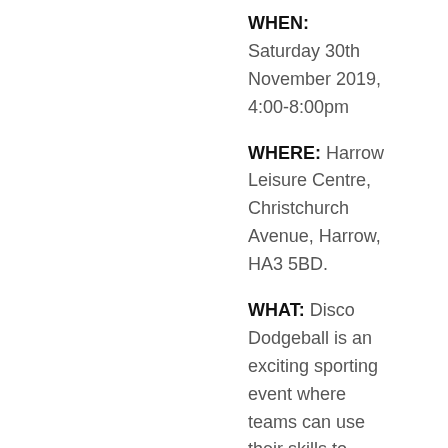WHEN: Saturday 30th November 2019, 4:00-8:00pm
WHERE: Harrow Leisure Centre, Christchurch Avenue, Harrow, HA3 5BD.
WHAT: Disco Dodgeball is an exciting sporting event where teams can use their skills to Dodge, Duck, Dip, Dive and Dance their way to the top and go head to head against other teams to be crowned Dodgeball Champions of 2019!
TEAMS: The maximum team capacity is eight participants, each set must start with six players on the court, of which a minimum of two must be female. Sign up as a group, or on your